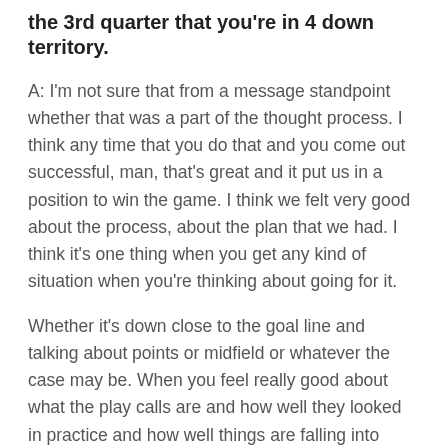the 3rd quarter that you're in 4 down territory.
A: I'm not sure that from a message standpoint whether that was a part of the thought process. I think any time that you do that and you come out successful, man, that's great and it put us in a position to win the game. I think we felt very good about the process, about the plan that we had. I think it's one thing when you get any kind of situation when you're thinking about going for it.
Whether it's down close to the goal line and talking about points or midfield or whatever the case may be. When you feel really good about what the play calls are and how well they looked in practice and how well things are falling into place, I think it does make it a little bit easier. You look at how the unit should feel, certainly more confidence based upon that.
[Figure (infographic): Social share icons: Facebook, Twitter, email, and a link/chain icon, each in a circle.]